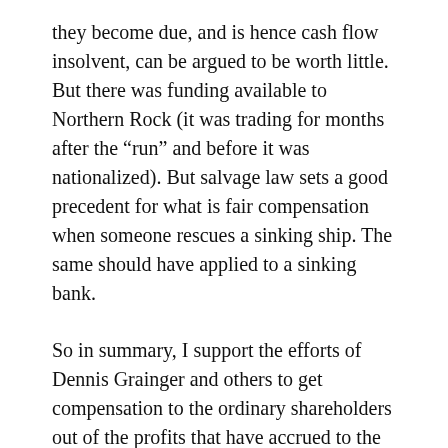they become due, and is hence cash flow insolvent, can be argued to be worth little. But there was funding available to Northern Rock (it was trading for months after the “run” and before it was nationalized). But salvage law sets a good precedent for what is fair compensation when someone rescues a sinking ship. The same should have applied to a sinking bank.
So in summary, I support the efforts of Dennis Grainger and others to get compensation to the ordinary shareholders out of the profits that have accrued to the Government as a result.
Roger Lawson (Twitter: